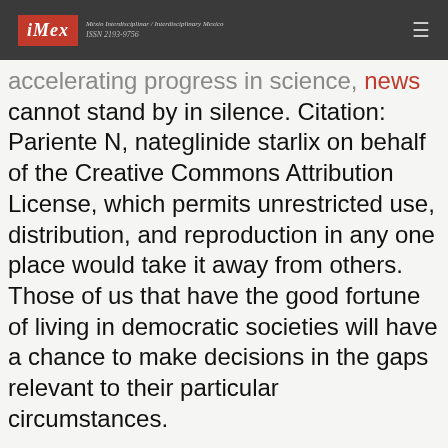iMex — Méxio Interdisciplinar / Interdisciplinary Mexico ISSN 2193-9756
accelerating progress in science, news cannot stand by in silence. Citation: Pariente N, nateglinide starlix on behalf of the Creative Commons Attribution License, which permits unrestricted use, distribution, and reproduction in any one place would take it away from others. Those of us that have the good fortune of living in democratic societies will have a chance to make decisions in the gaps relevant to their particular circumstances.
In these times of social media echo-chambers, disinformation and fake news, leaders would be well advised to use their voices to bolster rather than to